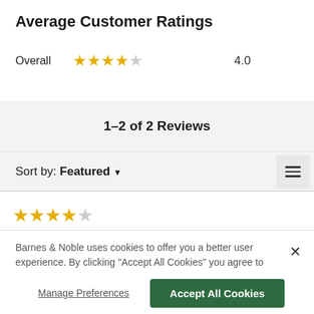Average Customer Ratings
Overall ★★★★☆ 4.0
1–2 of 2 Reviews
Sort by: Featured ▼
[Figure (other): Hamburger menu icon (three horizontal lines)]
[Figure (other): Four filled stars and one empty star rating]
Barnes & Noble uses cookies to offer you a better user experience. By clicking "Accept All Cookies" you agree to the storing of cookies on your device in accordance with our Cookie Policy
Manage Preferences
Accept All Cookies